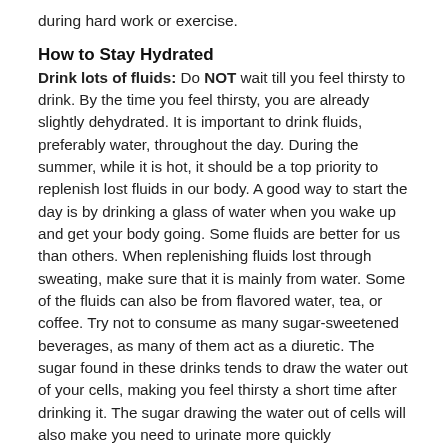during hard work or exercise.
How to Stay Hydrated
Drink lots of fluids: Do NOT wait till you feel thirsty to drink. By the time you feel thirsty, you are already slightly dehydrated. It is important to drink fluids, preferably water, throughout the day. During the summer, while it is hot, it should be a top priority to replenish lost fluids in our body. A good way to start the day is by drinking a glass of water when you wake up and get your body going. Some fluids are better for us than others. When replenishing fluids lost through sweating, make sure that it is mainly from water. Some of the fluids can also be from flavored water, tea, or coffee. Try not to consume as many sugar-sweetened beverages, as many of them act as a diuretic. The sugar found in these drinks tends to draw the water out of your cells, making you feel thirsty a short time after drinking it. The sugar drawing the water out of cells will also make you need to urinate more quickly